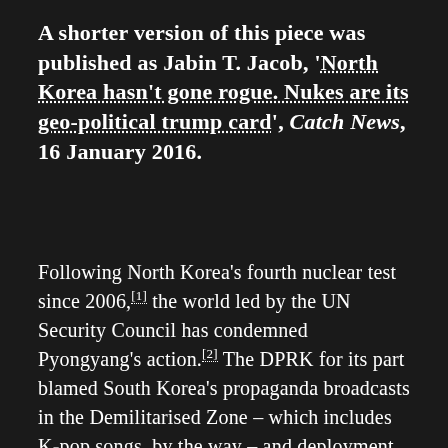A shorter version of this piece was published as Jabin T. Jacob, 'North Korea hasn't gone rogue. Nukes are its geo-political trump card', Catch News, 16 January 2016.
Following North Korea's fourth nuclear test since 2006,[1] the world led by the UN Security Council has condemned Pyongyang's action.[2] The DPRK for its part blamed South Korea's propaganda broadcasts in the Demilitarised Zone – which includes K-pop songs, by the way – and deployment of military